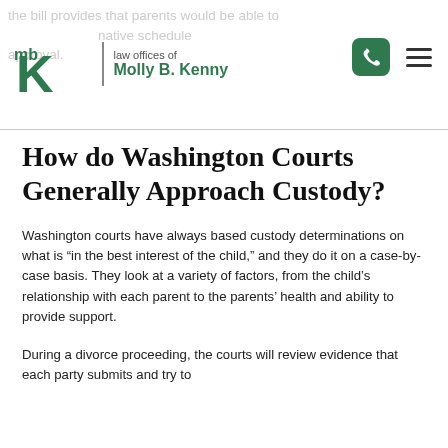law offices of Molly B. Kenny
How do Washington Courts Generally Approach Custody?
Washington courts have always based custody determinations on what is “in the best interest of the child,” and they do it on a case-by-case basis. They look at a variety of factors, from the child’s relationship with each parent to the parents’ health and ability to provide support.
During a divorce proceeding, the courts will review evidence that each party submits and try to